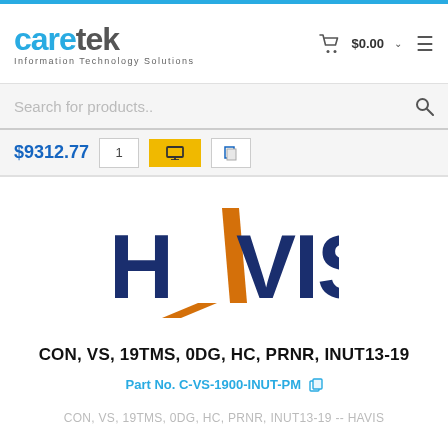[Figure (logo): Caretek Information Technology Solutions logo in top-left header]
$0.00
[Figure (screenshot): Search bar with placeholder 'Search for products..' and search icon]
$9312.77  1  [Add to Cart]  [Wishlist]
[Figure (logo): HAVIS brand logo — dark blue bold text with orange diagonal slash forming the A]
CON, VS, 19TMS, 0DG, HC, PRNR, INUT13-19
Part No. C-VS-1900-INUT-PM
CON, VS, 19TMS, 0DG, HC, PRNR, INUT13-19 -- HAVIS